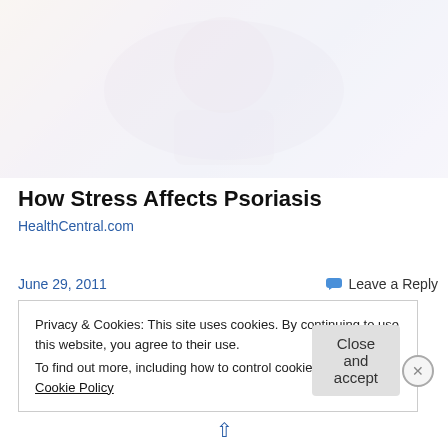[Figure (photo): Faded hero image showing a person, light tones with pinkish and purple hues, appears to be a medical/health article header image about stress and psoriasis]
How Stress Affects Psoriasis
HealthCentral.com
June 29, 2011
Leave a Reply
Privacy & Cookies: This site uses cookies. By continuing to use this website, you agree to their use.
To find out more, including how to control cookies, see here: Cookie Policy
Close and accept